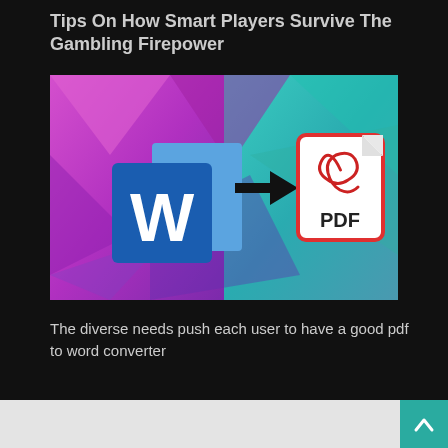Tips On How Smart Players Survive The Gambling Firepower
[Figure (illustration): Microsoft Word logo (W icon in blue) with an arrow pointing right to a PDF file icon with a red border and Adobe Acrobat symbol, set against a colorful blurred polygon background in magenta, purple and teal.]
The diverse needs push each user to have a good pdf to word converter
[Figure (other): Bottom strip with light gray background partially visible, and a teal scroll-to-top button with an up arrow chevron on the right side.]